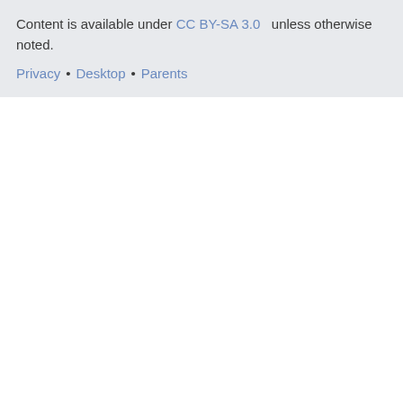Content is available under CC BY-SA 3.0 unless otherwise noted.
Privacy • Desktop • Parents